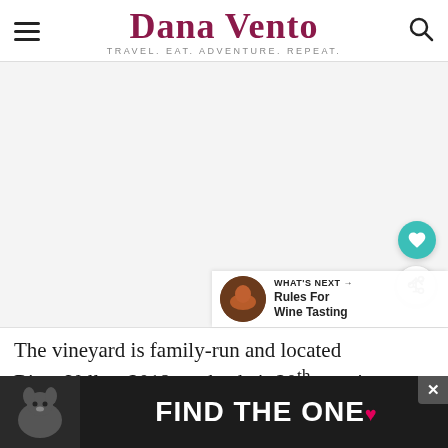Dana Vento — TRAVEL. EAT. ADVENTURE. REPEAT.
[Figure (photo): Large image area (mostly white/blank) with floating heart and share buttons on the right side. A 'What's Next — Rules For Wine Tasting' thumbnail appears at the bottom right with a small circular food photo.]
The vineyard is family-run and located in the River Valley. 2018 marks their 20th year in bus... [this first]
[Figure (photo): Advertisement banner with dog photo on left, text 'FIND THE ONE' in white on dark background, close button top right, and small heart icon.]